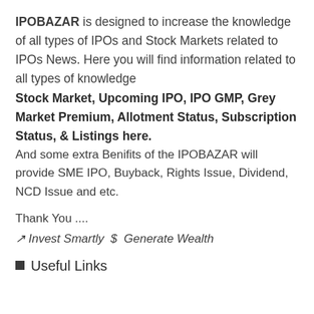IPOBAZAR is designed to increase the knowledge of all types of IPOs and Stock Markets related to IPOs News. Here you will find information related to all types of knowledge Stock Market, Upcoming IPO, IPO GMP, Grey Market Premium, Allotment Status, Subscription Status, & Listings here. And some extra Benifits of the IPOBAZAR will provide SME IPO, Buyback, Rights Issue, Dividend, NCD Issue and etc.
Thank You ....
↗ Invest Smartly  $  Generate Wealth
■ Useful Links